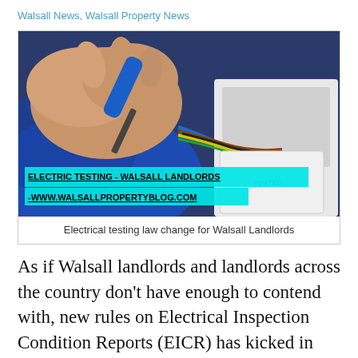Walsall News, Walsall Property News
[Figure (photo): Close-up photo of hands using a screwdriver on an electrical socket with colourful wires visible. Overlay text reads: ELECTRIC TESTING - WALSALL LANDLORDS -WWW.WALSALLPROPERTYBLOG.COM]
Electrical testing law change for Walsall Landlords
As if Walsall landlords and landlords across the country don't have enough to contend with, new rules on Electrical Inspection Condition Reports (EICR) has kicked in from this month.